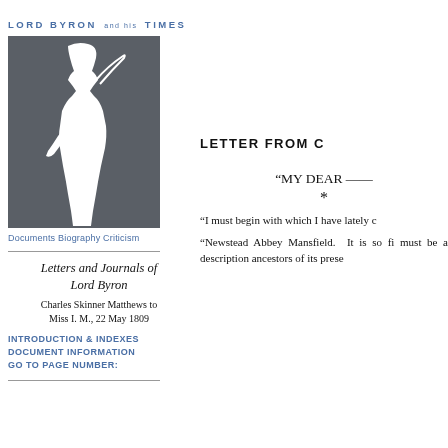LORD BYRON AND HIS TIMES
[Figure (illustration): Silhouette illustration of a person (Lord Byron) in profile against a dark grey background]
Documents Biography Criticism
Letters and Journals of Lord Byron
Charles Skinner Matthews to Miss I. M., 22 May 1809
INTRODUCTION & INDEXES
DOCUMENT INFORMATION
GO TO PAGE NUMBER:
LETTER FROM C
“MY DEAR ——
*
“I must begin with which I have lately c
“Newstead Abbey Mansfield. It is so fi must be a description ancestors of its prese